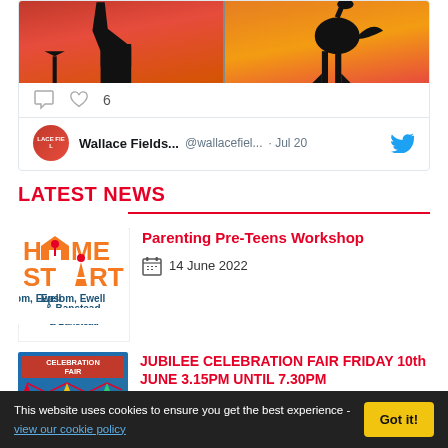[Figure (screenshot): Twitter post image showing African wildlife silhouettes (giraffe, ostrich/bird) against orange-red sunset background, split into two panels]
[Figure (screenshot): Twitter card footer with comment icon, heart icon with count 6, Wallace Fields account name @wallacefiel., Jul 20, and Twitter bird logo]
LATEST NEWS
[Figure (logo): Home Start Epsom, Ewell & Banstead logo - orange text with house and stick figure]
Parenting Pre-Teens Workshop
14 June 2022
[Figure (illustration): Jubilee Celebration Fair poster - blue background with children and bunting graphics, red header text]
JUBILEE CELEBRATION FAIR FRIDAY 10th JUNE 3.15PM UNTIL 7.30PM
27 May 2022
This website uses cookies to ensure you get the best experience - view our cookie policy